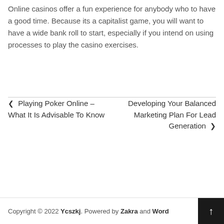Online casinos offer a fun experience for anybody who to have a good time. Because its a capitalist game, you will want to have a wide bank roll to start, especially if you intend on using processes to play the casino exercises.
‹ Playing Poker Online – What It Is Advisable To Know
Developing Your Balanced Marketing Plan For Lead Generation ›
Copyright © 2022 Ycszkj. Powered by Zakra and Word...